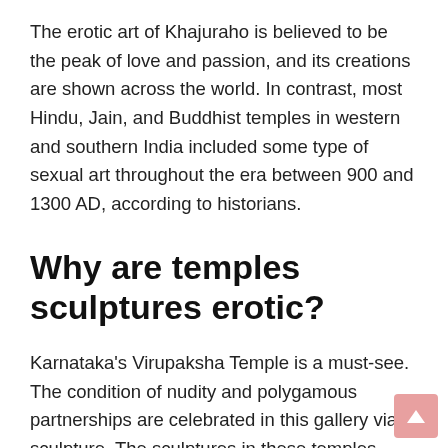The erotic art of Khajuraho is believed to be the peak of love and passion, and its creations are shown across the world. In contrast, most Hindu, Jain, and Buddhist temples in western and southern India included some type of sexual art throughout the era between 900 and 1300 AD, according to historians.
Why are temples sculptures erotic?
Karnataka's Virupaksha Temple is a must-see. The condition of nudity and polygamous partnerships are celebrated in this gallery via sculpture. The sculptures in these temples